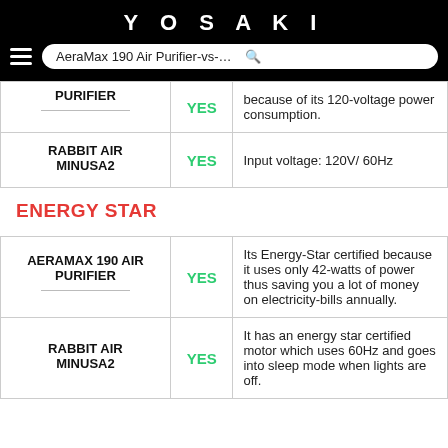YOSAKI | AeraMax 190 Air Purifier-vs-Rabbit Air Mi
| Product | Compatible | Description |
| --- | --- | --- |
| PURIFIER | YES | because of its 120-voltage power consumption. |
| RABBIT AIR MINUSA2 | YES | Input voltage: 120V/ 60Hz |
ENERGY STAR
| Product | Compatible | Description |
| --- | --- | --- |
| AERAMAX 190 AIR PURIFIER | YES | Its Energy-Star certified because it uses only 42-watts of power thus saving you a lot of money on electricity-bills annually. |
| RABBIT AIR MINUSA2 | YES | It has an energy star certified motor which uses 60Hz and goes into sleep mode when lights are off. |